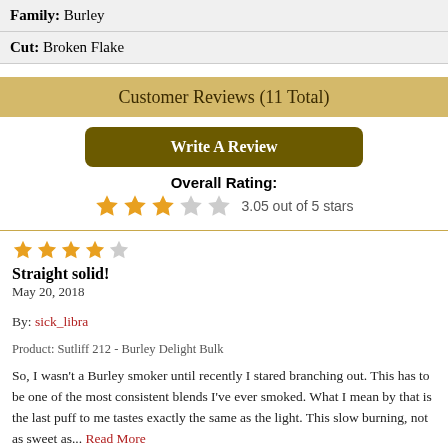Family: Burley
Cut: Broken Flake
Customer Reviews (11 Total)
Write A Review
Overall Rating: 3.05 out of 5 stars
Straight solid!
May 20, 2018
By: sick_libra
Product: Sutliff 212 - Burley Delight Bulk
So, I wasn't a Burley smoker until recently I stared branching out. This has to be one of the most consistent blends I've ever smoked. What I mean by that is the last puff to me tastes exactly the same as the light. This slow burning, not as sweet as... Read More